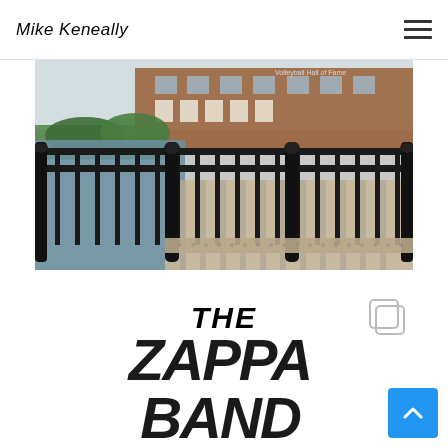Mike Keneally
[Figure (photo): Outdoor photo of a canal walkway with black iron railing/fence in foreground, water to the left, brick building in background with text 'Volleyball Hall of Fame' visible]
[Figure (photo): Graphic logo image for 'The Zappa Band' in bold black graffiti-style block letters on white background, with Instagram copy icon in top right corner]